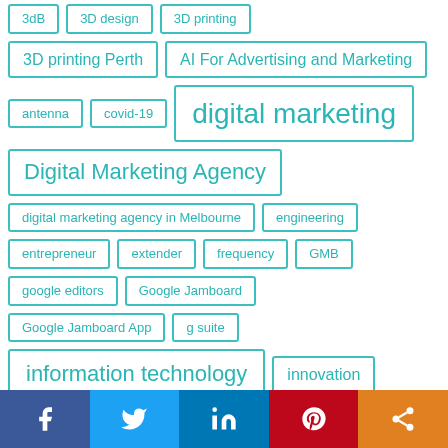3dB
3D design
3D printing
3D printing Perth
AI For Advertising and Marketing
antenna
covid-19
digital marketing
Digital Marketing Agency
digital marketing agency in Melbourne
engineering
entrepreneur
extender
frequency
GMB
google editors
Google Jamboard
Google Jamboard App
g suite
information technology
innovation
Jamboard App
large monitor
large touchscreens